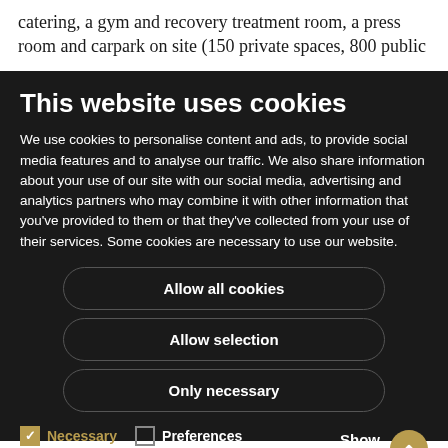catering, a gym and recovery treatment room, a press room and carpark on site (150 private spaces, 800 public
This website uses cookies
We use cookies to personalise content and ads, to provide social media features and to analyse our traffic. We also share information about your use of our site with our social media, advertising and analytics partners who may combine it with other information that you've provided to them or that they've collected from your use of their services. Some cookies are necessary to use our website.
Allow all cookies
Allow selection
Only necessary
Necessary   Preferences   Show details   Statistics   Marketing